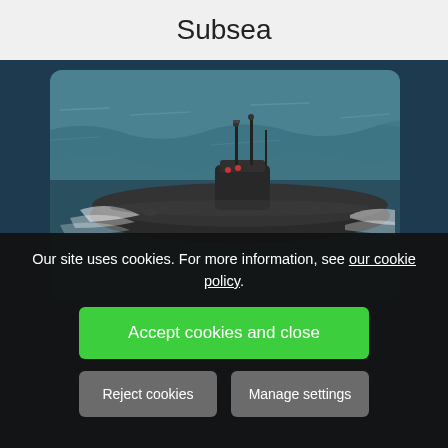Subsea
[Figure (photo): A submarine sailing on the ocean surface with waves, viewed from above and slightly to the side. The submarine is dark/black in color with a conning tower and antenna masts visible. The ocean water is dark blue-green.]
Our site uses cookies. For more information, see our cookie policy.
Accept cookies and close
Reject cookies
Manage settings